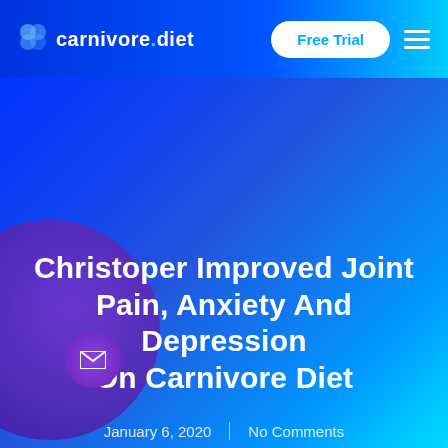carnivore.diet — Free Trial
Christoper Improved Joint Pain, Anxiety And Depression On Carnivore Diet
January 6, 2020 | No Comments